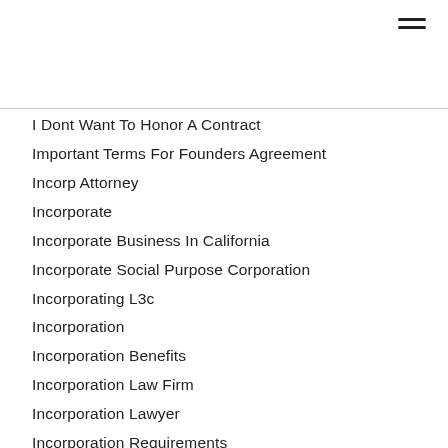I Dont Want To Honor A Contract
Important Terms For Founders Agreement
Incorp Attorney
Incorporate
Incorporate Business In California
Incorporate Social Purpose Corporation
Incorporating L3c
Incorporation
Incorporation Benefits
Incorporation Law Firm
Incorporation Lawyer
Incorporation Requirements
Incorporation San Jose Law Firm
Incorporation Service
Incrop Lawyer
Independent Contractor
Independent Contractor Law Firm